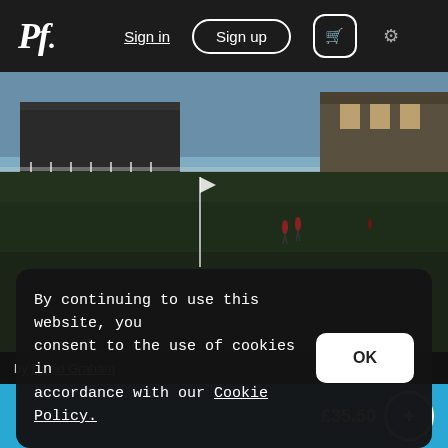Pf. | Sign in | Sign up | [cart] [settings]
[Figure (photo): Outdoor golf course scene at dusk with dark green fairway, a flag pin, buildings in the background including a grandstand and stone clubhouse, and figures visible on the course. Sky is blue-gray.]
by David Graham
By continuing to use this website, you consent to the use of cookies in accordance with our Cookie Policy.